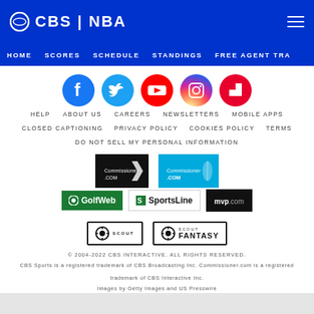CBS | NBA
HOME  SCORES  SCHEDULE  STANDINGS  FREE AGENT TRA
[Figure (logo): Social media icons row: Facebook, Twitter, YouTube, Instagram, Flipboard]
HELP  ABOUT US  CAREERS  NEWSLETTERS  MOBILE APPS
CLOSED CAPTIONING  PRIVACY POLICY  COOKIES POLICY  TERMS
DO NOT SELL MY PERSONAL INFORMATION
[Figure (logo): Commissioner.com dark logo and Commissioner.com blue logo side by side]
[Figure (logo): GolfWeb logo, SportsLine logo, mvp.com logo]
[Figure (logo): Scout logo and Scout Fantasy logo]
© 2004-2022 CBS INTERACTIVE. ALL RIGHTS RESERVED.
CBS Sports is a registered trademark of CBS Broadcasting Inc. Commissioner.com is a registered trademark of CBS Interactive Inc.
Images by Getty Images and US Presswire